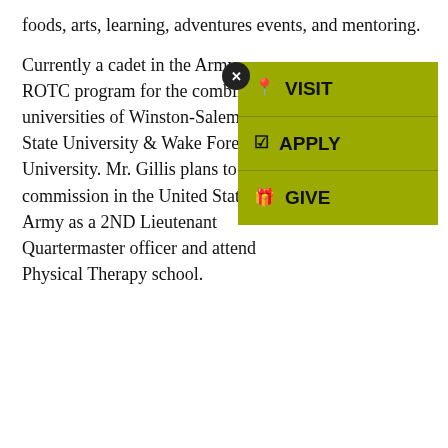foods, arts, learning, adventures events, and mentoring.
Currently a cadet in the Army ROTC program for the combined universities of Winston-Salem State University & Wake Forest University. Mr. Gillis plans to commission in the United States Army as a 2ND Lieutenant Quartermaster officer and attend Physical Therapy school.
[Figure (screenshot): A dropdown overlay menu with a close (X) button and three olive/yellow-green items: VISIT (with location pin icon), APPLY (with checkbox icon), GIVE (with gift box icon).]
WFU's awardees are named in this Wake Forest News article.
The Building the Dream award ceremony represents the longest-running partnership between WFU and WSSU. The theme for this year's event was “On Common Ground: Embracing Our Voices.” David Banner, an American record producer, activist, musician and actor was the keynote speaker.
This year's program occurred Thursday, Feb 3 2022 in KR Williams Auditorium on the WSSU campus. The celebration